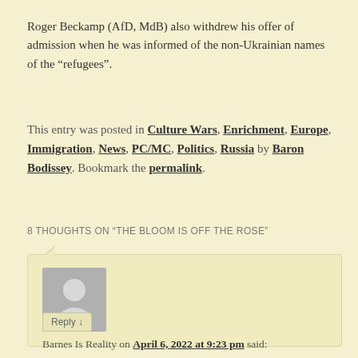Roger Beckamp (AfD, MdB) also withdrew his offer of admission when he was informed of the non-Ukrainian names of the “refugees”.
This entry was posted in Culture Wars, Enrichment, Europe, Immigration, News, PC/MC, Politics, Russia by Baron Bodissey. Bookmark the permalink.
8 THOUGHTS ON “THE BLOOM IS OFF THE ROSE”
Barnes Is Reality on April 6, 2022 at 9:23 pm said:
Plus, they aren’t diverse enough.
Watched the J Monsters Who Run Ukraine for the real deal because reality is your friend.